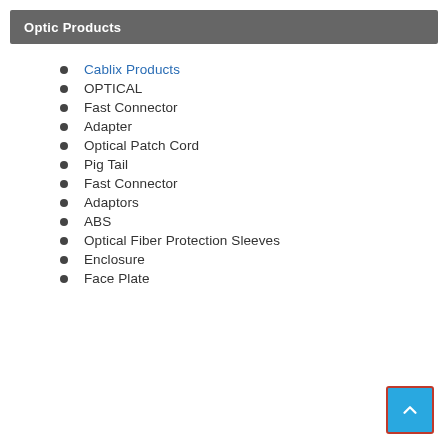Optic Products
Cablix Products
OPTICAL
Fast Connector
Adapter
Optical Patch Cord
Pig Tail
Fast Connector
Adaptors
ABS
Optical Fiber Protection Sleeves
Enclosure
Face Plate